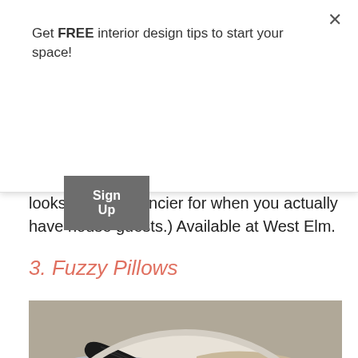Get FREE interior design tips to start your space!
Sign Up
looks so much fancier for when you actually have house guests.) Available at West Elm.
3. Fuzzy Pillows
[Figure (photo): Close-up photo of a fuzzy decorative pillow with gray, tan/beige, white and black textured sections creating an abstract pattern]